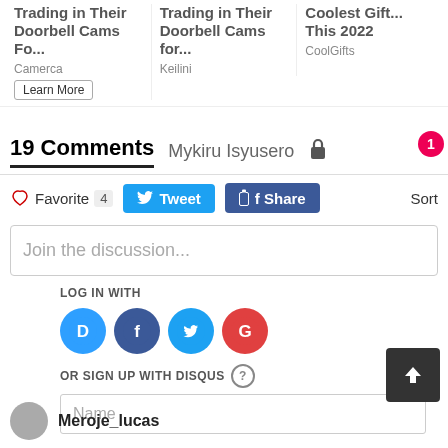[Figure (screenshot): Advertisement bar showing three ad items: 'Trading in Their Doorbell Cams Fo...' by Camerca with Learn More button, 'Trading in Their Doorbell Cams for...' by Keilini, and 'Coolest Gift... This 2022' by CoolGifts]
19 Comments   Mykiru Isyusero   🔒   1
♡ Favorite  4    Tweet    f Share    Sort
Join the discussion...
LOG IN WITH
[Figure (infographic): Four social login icons: Disqus (blue D in speech bubble), Facebook (dark blue F), Twitter (light blue bird), Google (red G)]
OR SIGN UP WITH DISQUS ?
Name
Meroje_lucas